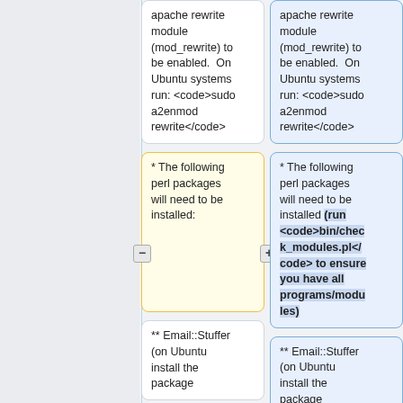apache rewrite module (mod_rewrite) to be enabled.  On Ubuntu systems run: <code>sudo a2enmod rewrite</code>
apache rewrite module (mod_rewrite) to be enabled.  On Ubuntu systems run: <code>sudo a2enmod rewrite</code>
* The following perl packages will need to be installed:
* The following perl packages will need to be installed (run <code>bin/check_modules.pl</code> to ensure you have all programs/modules)
** Email::Stuffer (on Ubuntu install the package
** Email::Stuffer (on Ubuntu install the package